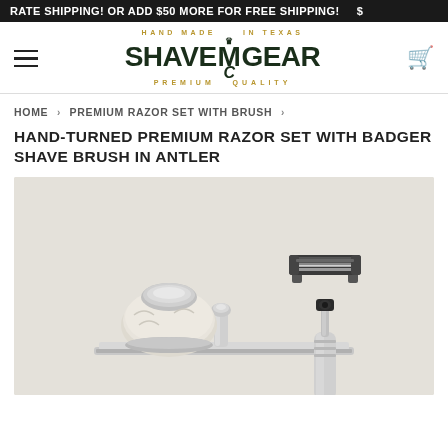RATE SHIPPING! OR ADD $50 MORE FOR FREE SHIPPING! $
[Figure (logo): ShaveMGear logo - Hand Made in Texas, Premium Quality, with decorative M and crown]
HOME › PREMIUM RAZOR SET WITH BRUSH ›
HAND-TURNED PREMIUM RAZOR SET WITH BADGER SHAVE BRUSH IN ANTLER
[Figure (photo): Product photo of a premium razor set with badger shave brush in antler. Shows chrome razor head on handle, shaving brush, and tray on a light grey background.]